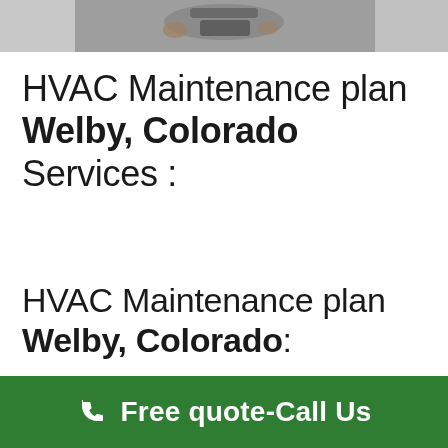[Figure (photo): Partial photo strip at top of page showing hands or person working, grayscale/muted tones]
HVAC Maintenance plan Welby, Colorado Services :
HVAC Maintenance plan Welby, Colorado:
Service Professionals can be at your home or business, on-time today, for convenient repairs and new installations.
FREE ESTIMATE
Free quote-Call Us